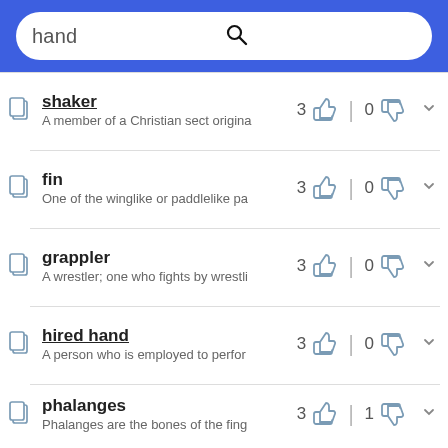hand
shaker — A member of a Christian sect origina… | 3 👍 0 👎
fin — One of the winglike or paddlelike pa… | 3 👍 0 👎
grappler — A wrestler; one who fights by wrestli… | 3 👍 0 👎
hired hand — A person who is employed to perfor… | 3 👍 0 👎
phalanges — Phalanges are the bones of the fing… | 3 👍 1 👎
forklift